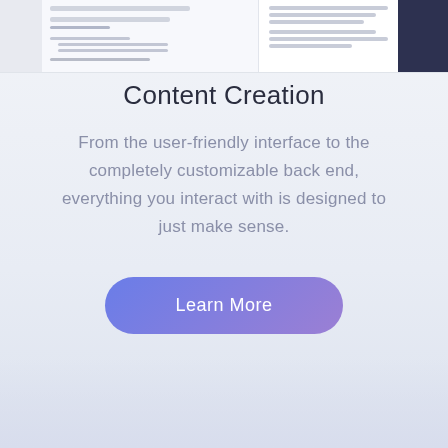[Figure (screenshot): Partial screenshot of a web application interface showing a left panel with form fields and lines of placeholder content, a main content area with text lines, and a dark corner element in the top right.]
Content Creation
From the user-friendly interface to the completely customizable back end, everything you interact with is designed to just make sense.
[Figure (other): A pill-shaped button with a purple-to-mauve gradient reading 'Learn More' in white text.]